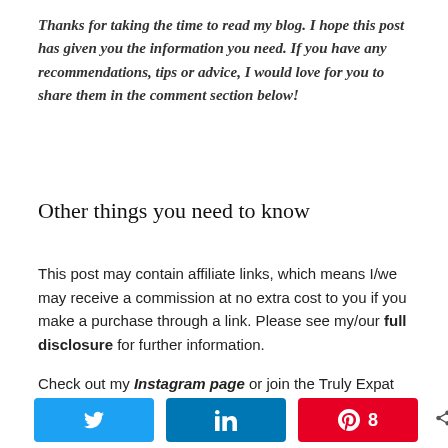Thanks for taking the time to read my blog. I hope this post has given you the information you need. If you have any recommendations, tips or advice, I would love for you to share them in the comment section below!
Other things you need to know
This post may contain affiliate links, which means I/we may receive a commission at no extra cost to you if you make a purchase through a link. Please see my/our full disclosure for further information.
Check out my Instagram page or join the Truly Expat Facebook group.
[Figure (infographic): Social share bar with Twitter button, LinkedIn button, Pinterest button showing count of 8, and total share count of 8 with SHARES label]